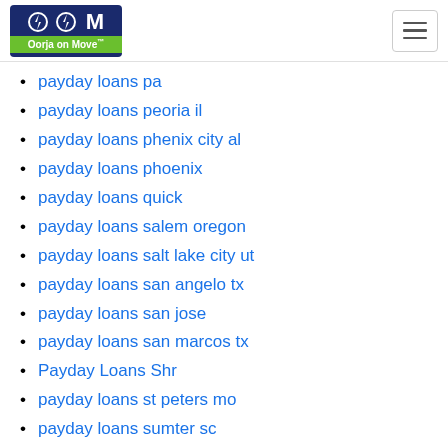Oorja on Move
payday loans pa
payday loans peoria il
payday loans phenix city al
payday loans phoenix
payday loans quick
payday loans salem oregon
payday loans salt lake city ut
payday loans san angelo tx
payday loans san jose
payday loans san marcos tx
Payday Loans Shr
payday loans st peters mo
payday loans sumter sc
payday loans tallahassee
payday loans that accept chime
payday loans that don t do credit checks